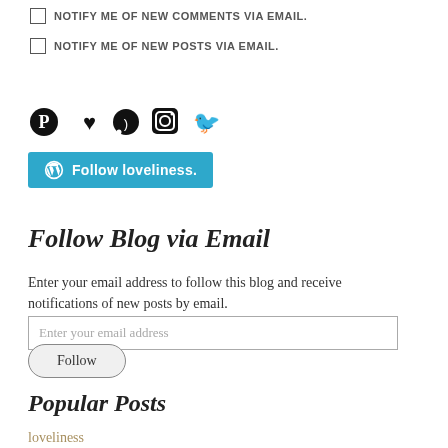NOTIFY ME OF NEW COMMENTS VIA EMAIL.
NOTIFY ME OF NEW POSTS VIA EMAIL.
[Figure (other): Social media icons: Pinterest, heart/Bloglovin, RSS, Instagram, Twitter]
[Figure (other): WordPress Follow loveliness button (teal/blue)]
Follow Blog via Email
Enter your email address to follow this blog and receive notifications of new posts by email.
[Figure (other): Email input field with placeholder 'Enter your email address']
[Figure (other): Follow button, rounded rectangle]
Popular Posts
loveliness